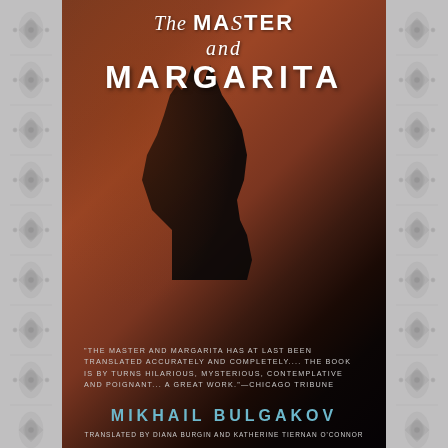[Figure (illustration): Book cover of 'The Master and Margarita' by Mikhail Bulgakov. Features a dark, atmospheric cover with a silhouette of a black cat against a reddish-brown and black background. Decorative floral/arabesque pattern borders on left and right sides of the cover image.]
The Master and MARGARITA
"THE MASTER AND MARGARITA HAS AT LAST BEEN TRANSLATED ACCURATELY AND COMPLETELY.... THE BOOK IS BY TURNS HILARIOUS, MYSTERIOUS, CONTEMPLATIVE AND POIGNANT... A GREAT WORK."—CHICAGO TRIBUNE
MIKHAIL BULGAKOV
TRANSLATED BY DIANA BURGIN AND KATHERINE TIERNAN O'CONNOR